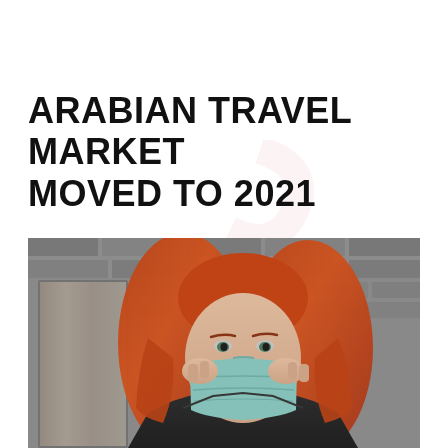ARABIAN TRAVEL MARKET MOVED TO 2021
[Figure (photo): A woman with long red hair wearing a teal/light blue face mask, dressed in a dark jacket, standing in front of a blurred brick wall background.]